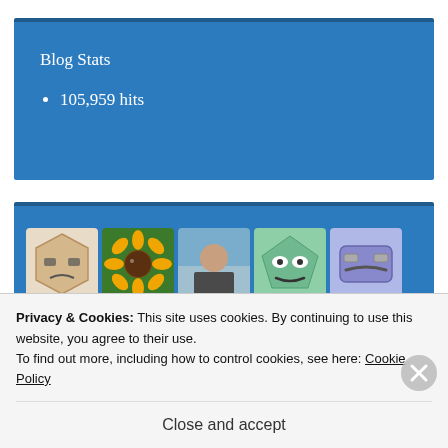Blog Stats
105,959 hits
[Figure (photo): Grid of follower avatar images on blue background, showing cartoon hexagon face, sunflower, person photo, cartoon pentagon face, cartoon purple rectangle face, dark circle with figure icon, plus partial second row]
Privacy & Cookies: This site uses cookies. By continuing to use this website, you agree to their use.
To find out more, including how to control cookies, see here: Cookie Policy
Close and accept